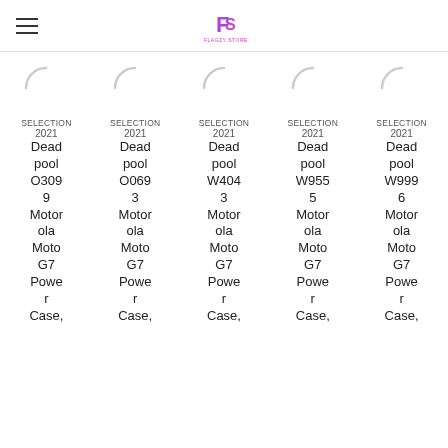Flagzy Store logo and navigation
[Figure (other): Five product loading spinner icons in a row]
SELECTION 2021 Deadpool O3099 Motorola Moto G7 Power Case, | SELECTION 2021 Deadpool O0693 Motorola Moto G7 Power Case, | SELECTION 2021 Deadpool W4043 Motorola Moto G7 Power Case, | SELECTION 2021 Deadpool W9555 Motorola Moto G7 Power Case, | SELECTION 2021 Deadpool W9996 Motorola Moto G7 Power Case,